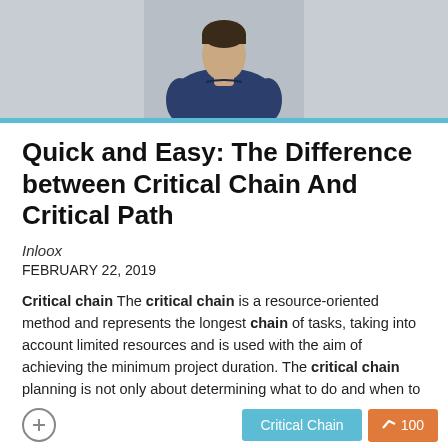[Figure (photo): Person in dark blue t-shirt viewed from behind against a light grey background, cropped to show upper back and head]
Quick and Easy: The Difference between Critical Chain And Critical Path
Inloox
FEBRUARY 22, 2019
Critical chain The critical chain is a resource-oriented method and represents the longest chain of tasks, taking into account limited resources and is used with the aim of achieving the minimum project duration. The critical chain planning is not only about determining what to do and when to do it, but who actually does it. The critical chain method brings these two new thoughts to project planning : No Multitasking is not allowed!
Critical Chain  100